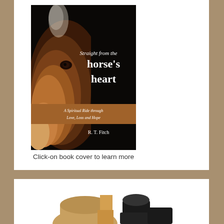[Figure (illustration): Book cover for 'Straight from the horse's heart: A Spiritual Ride through Love, Loss and Hope' by R.T. Fitch. Dark background with a close-up photo of a brown horse's face, white italic title text, and a brown banner with subtitle.]
Click-on book cover to learn more
[Figure (photo): Partial view of cowboy boots and a hat at the bottom of the page, partially cropped.]